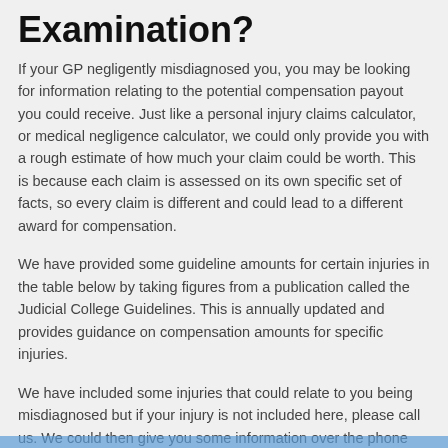Examination?
If your GP negligently misdiagnosed you, you may be looking for information relating to the potential compensation payout you could receive. Just like a personal injury claims calculator, or medical negligence calculator, we could only provide you with a rough estimate of how much your claim could be worth. This is because each claim is assessed on its own specific set of facts, so every claim is different and could lead to a different award for compensation.
We have provided some guideline amounts for certain injuries in the table below by taking figures from a publication called the Judicial College Guidelines. This is annually updated and provides guidance on compensation amounts for specific injuries.
We have included some injuries that could relate to you being misdiagnosed but if your injury is not included here, please call us. We could then give you some information over the phone relating to the guideline amounts for your injuries.